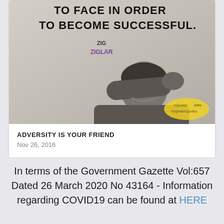[Figure (photo): A card with an image showing a person covering their face with their arm, with motivational quote text overlay '...TO FACE IN ORDER TO BECOME SUCCESSFUL.' attributed to Zig Ziglar, against a light background, with InspirianQuotes.info watermark]
ADVERSITY IS YOUR FRIEND
Nov 26, 2016
In terms of the Government Gazette Vol:657 Dated 26 March 2020 No 43164 - Information regarding COVID19 can be found at HERE